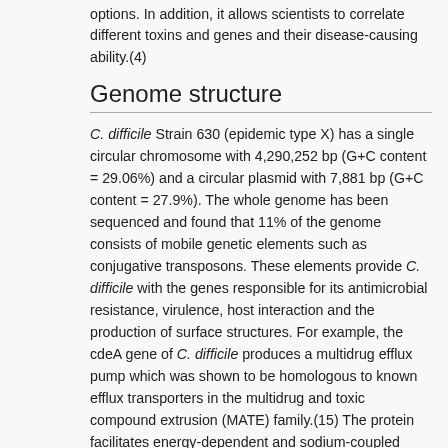options. In addition, it allows scientists to correlate different toxins and genes and their disease-causing ability.(4)
Genome structure
C. difficile Strain 630 (epidemic type X) has a single circular chromosome with 4,290,252 bp (G+C content = 29.06%) and a circular plasmid with 7,881 bp (G+C content = 27.9%). The whole genome has been sequenced and found that 11% of the genome consists of mobile genetic elements such as conjugative transposons. These elements provide C. difficile with the genes responsible for its antimicrobial resistance, virulence, host interaction and the production of surface structures. For example, the cdeA gene of C. difficile produces a multidrug efflux pump which was shown to be homologous to known efflux transporters in the multidrug and toxic compound extrusion (MATE) family.(15) The protein facilitates energy-dependent and sodium-coupled efflux of drugs from cells. In